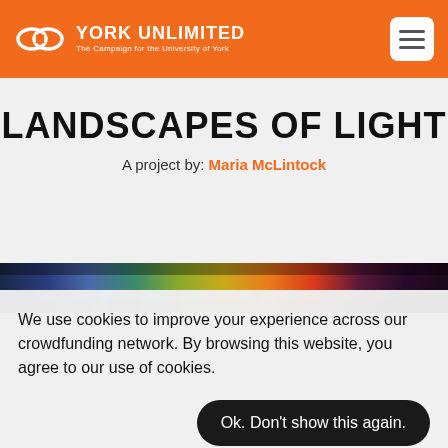YORK UNLIMITED — The Campaign for the University of York
LANDSCAPES OF LIGHT
A project by: Maria McLintock
[Figure (photo): Colorful landscape/light spectrum image strip]
We use cookies to improve your experience across our crowdfunding network. By browsing this website, you agree to our use of cookies.
Ok. Don't show this again.